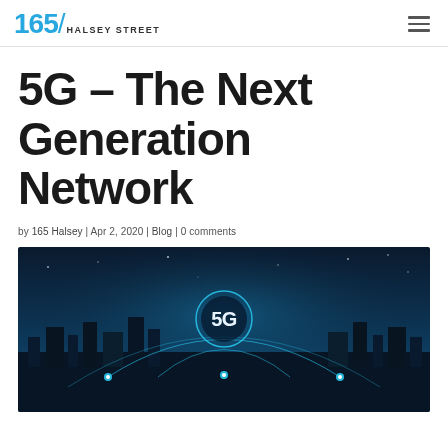165 / HALSEY STREET
5G – The Next Generation Network
by 165 Halsey | Apr 2, 2020 | Blog | 0 comments
[Figure (photo): 5G network connectivity illustration with city skyline at night, glowing 5G logo in a circle, and network connection arcs linking location pins across the scene.]